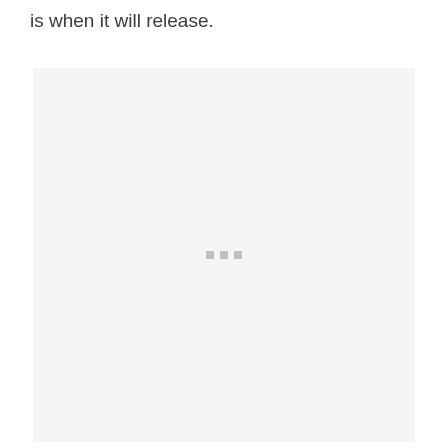is when it will release.
[Figure (other): A light gray placeholder box with three small gray square loading indicator dots centered within it.]